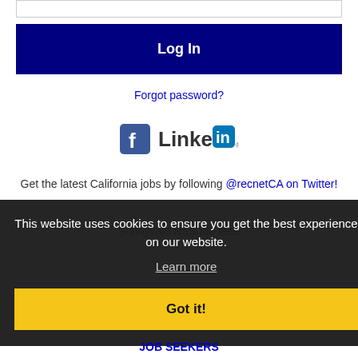[Figure (screenshot): Input text field (password or username field) at the top of the page]
[Figure (screenshot): Dark blue 'Log In' button]
Forgot password?
[Figure (logo): Facebook logo icon and LinkedIn logo side by side]
Get the latest California jobs by following @recnetCA on Twitter!
Sunnyvale RSS job feed
This website uses cookies to ensure you get the best experience on our website.
Learn more
Got it!
JOB SEEKERS